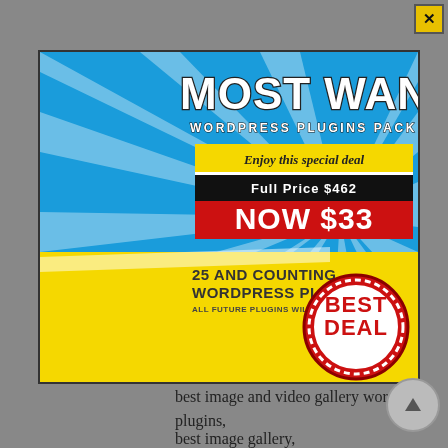[Figure (illustration): Promotional advertisement banner for 'Most Wanted WordPress Plugins Pack'. Features a cartoon cowgirl character holding a gun on a blue ray background. Text includes 'MOST WANTED', 'WORDPRESS PLUGINS PACK', 'Enjoy this special deal', 'Full Price $462', 'NOW $33', '25 AND COUNTING... WORDPRESS PLUGINS', 'ALL FUTURE PLUGINS WILL BE INCLUDED', and a 'BEST DEAL' stamp circle. Yellow close button with X in top right corner.]
best image and video gallery wordpress plugins,
best image gallery,